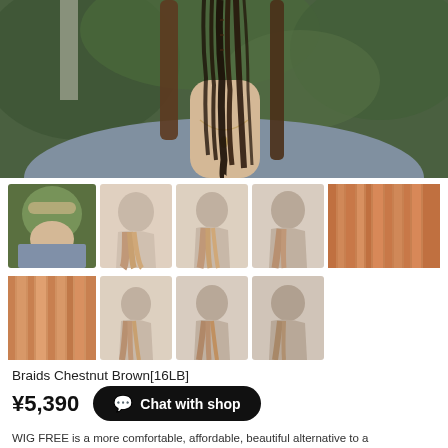[Figure (photo): Close-up photo of a person with long braided hair (dark brown braids mixed with straight hair), wearing a grey/blue sweatshirt and a necklace, with green foliage in background]
[Figure (photo): Grid of 9 product thumbnail images showing wig/hair extension from different angles on mannequin heads and a person wearing a cap, plus close-up texture shots of orange/brown hair]
Braids Chestnut Brown[16LB]
¥5,390
Chat with shop
WIG FREE is a more comfortable, affordable, beautiful alternative to a